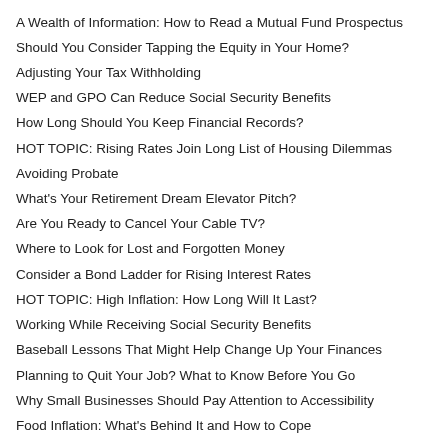A Wealth of Information: How to Read a Mutual Fund Prospectus
Should You Consider Tapping the Equity in Your Home?
Adjusting Your Tax Withholding
WEP and GPO Can Reduce Social Security Benefits
How Long Should You Keep Financial Records?
HOT TOPIC: Rising Rates Join Long List of Housing Dilemmas
Avoiding Probate
What's Your Retirement Dream Elevator Pitch?
Are You Ready to Cancel Your Cable TV?
Where to Look for Lost and Forgotten Money
Consider a Bond Ladder for Rising Interest Rates
HOT TOPIC: High Inflation: How Long Will It Last?
Working While Receiving Social Security Benefits
Baseball Lessons That Might Help Change Up Your Finances
Planning to Quit Your Job? What to Know Before You Go
Why Small Businesses Should Pay Attention to Accessibility
Food Inflation: What's Behind It and How to Cope